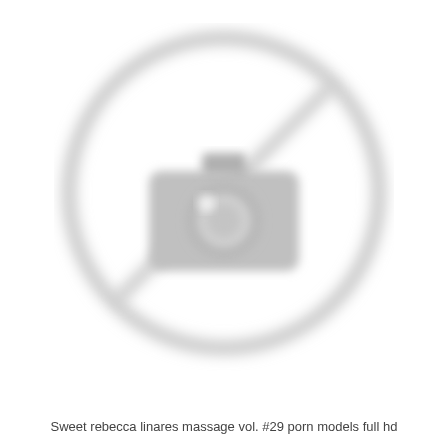[Figure (illustration): A blurred placeholder image icon: a large light gray circle with a diagonal line through it (no-image symbol), containing a gray camera icon in the center. The camera body is a rounded rectangle with a small viewfinder bump on top, a circular lens in the center with a smaller circle inside, and a small white highlight circle at upper left. The entire image is rendered in soft, blurred light gray tones on a white background.]
Sweet rebecca linares massage vol. #29 porn models full hd